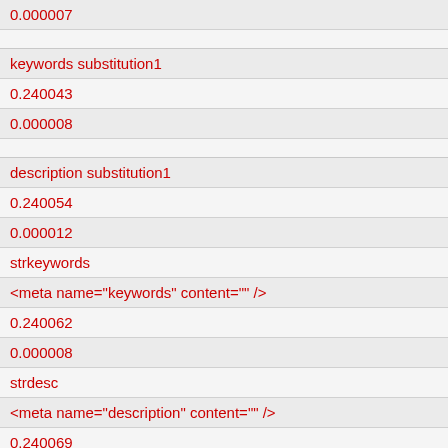| 0.000007 |
|  |
| keywords substitution1 |
| 0.240043 |
| 0.000008 |
|  |
| description substitution1 |
| 0.240054 |
| 0.000012 |
| strkeywords |
| <meta name="keywords" content="" /> |
| 0.240062 |
| 0.000008 |
| strdesc |
| <meta name="description" content="" /> |
| 0.240069 |
| 0.000007 |